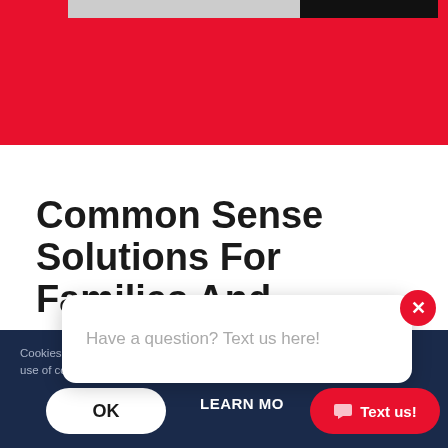[Figure (screenshot): Red banner section at top of webpage with a dark photo strip at the very top edge]
Common Sense Solutions For Families And
Cookies help us deliver our services. By using our website, you agree to our use of cookies.
OK
LEARN MO
Have a question? Text us here!
Text us!